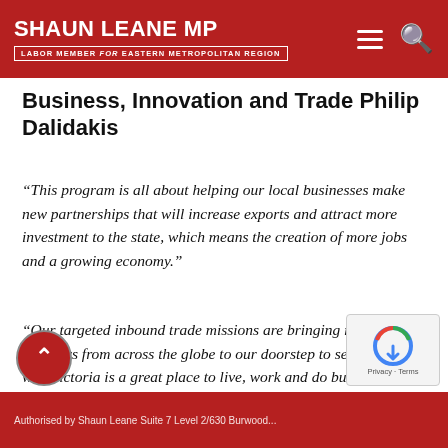SHAUN LEANE MP — LABOR MEMBER for EASTERN METROPOLITAN REGION
Business, Innovation and Trade Philip Dalidakis
“This program is all about helping our local businesses make new partnerships that will increase exports and attract more investment to the state, which means the creation of more jobs and a growing economy.”
“Our targeted inbound trade missions are bringing major investors from across the globe to our doorstep to see first-hand why Victoria is a great place to live, work and do business.”
Authorised by Shaun Leane Suite 7 Level 2/630 Burwood...